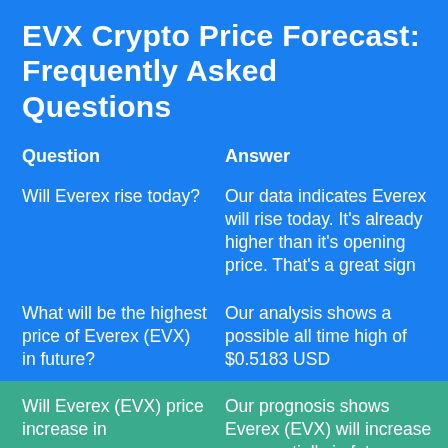EVX Crypto Price Forecast: Frequently Asked Questions
| Question | Answer |
| --- | --- |
| Will Everex rise today? | Our data indicates Everex will rise today. It's already higher than it's opening price. That's a great sign |
| What will be the highest price of Everex (EVX) in future? | Our analysis shows a possible all time high of $0.5183 USD |
| Will Everex (EVX) price increase in | Our prognosis shows Everex (EVX) will increase exponentially in future, |